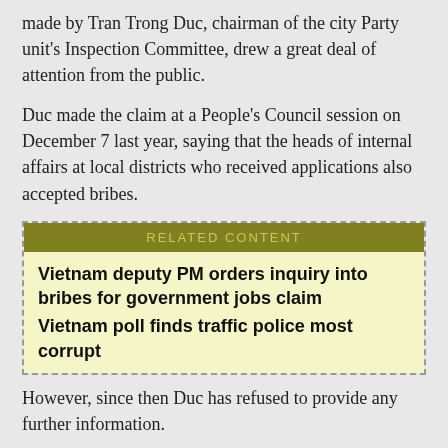made by Tran Trong Duc, chairman of the city Party unit's Inspection Committee, drew a great deal of attention from the public.
Duc made the claim at a People's Council session on December 7 last year, saying that the heads of internal affairs at local districts who received applications also accepted bribes.
RELATED CONTENT
Vietnam deputy PM orders inquiry into bribes for government jobs claim
Vietnam poll finds traffic police most corrupt
However, since then Duc has refused to provide any further information.
Speaking to Tuoi Tre after Hanoi authorities reported their findings, Duc said he did not know "clearly" what the municipal People's Committee mentioned about his allegation in its report, and declined to make any further comment.